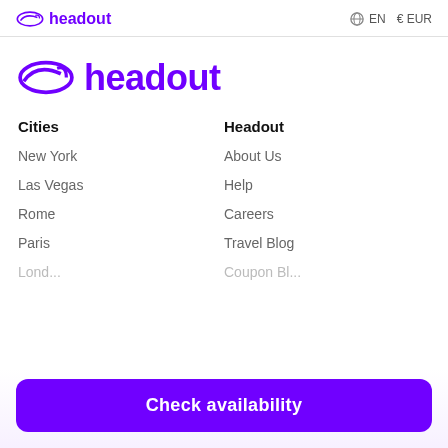headout  EN  €EUR
[Figure (logo): Headout logo with leaf icon and wordmark in purple, large version]
Cities
New York
Las Vegas
Rome
Paris
Headout
About Us
Help
Careers
Travel Blog
Check availability